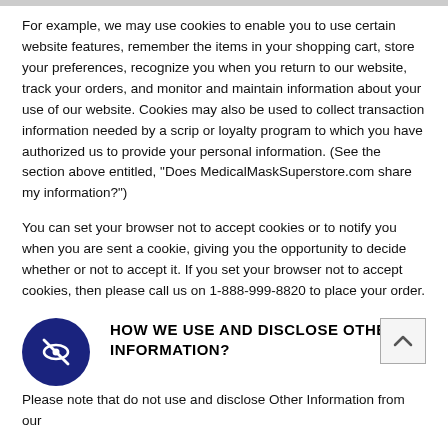For example, we may use cookies to enable you to use certain website features, remember the items in your shopping cart, store your preferences, recognize you when you return to our website, track your orders, and monitor and maintain information about your use of our website. Cookies may also be used to collect transaction information needed by a scrip or loyalty program to which you have authorized us to provide your personal information. (See the section above entitled, "Does MedicalMaskSuperstore.com share my information?")
You can set your browser not to accept cookies or to notify you when you are sent a cookie, giving you the opportunity to decide whether or not to accept it. If you set your browser not to accept cookies, then please call us on 1-888-999-8820 to place your order.
HOW WE USE AND DISCLOSE OTHER INFORMATION?
Please note that do not use and disclose Other Information from our...